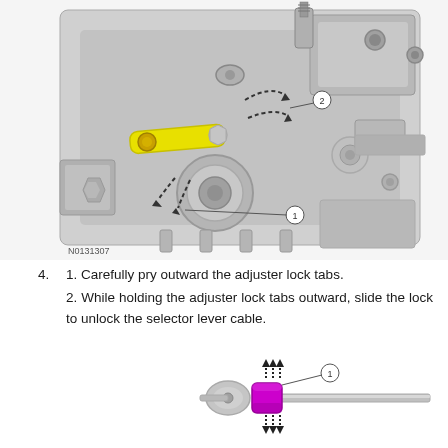[Figure (engineering-diagram): Technical illustration of a transmission/gearbox mechanism showing a yellow highlighted link/arm component with callout number 2, and dashed arrows indicating rotational movement. Callout number 1 points to the lower area of the mechanism. Image reference code N0131307 shown at bottom left.]
4.  1. Carefully pry outward the adjuster lock tabs.
2. While holding the adjuster lock tabs outward, slide the lock to unlock the selector lever cable.
[Figure (engineering-diagram): Technical illustration of a cable adjuster/lock component. A cylindrical cable with a purple/magenta colored lock collar (callout number 1) is shown with dashed arrows above and below indicating the lock slide direction.]